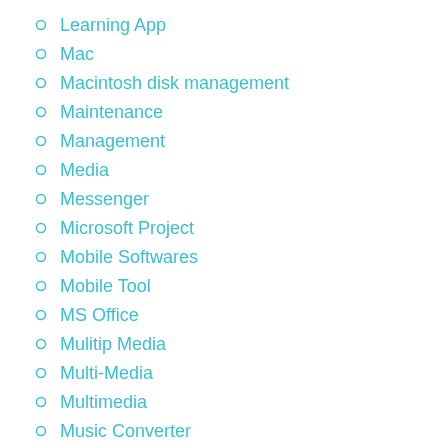Learning App
Mac
Macintosh disk management
Maintenance
Management
Media
Messenger
Microsoft Project
Mobile Softwares
Mobile Tool
MS Office
Mulitip Media
Multi-Media
Multimedia
Music Converter